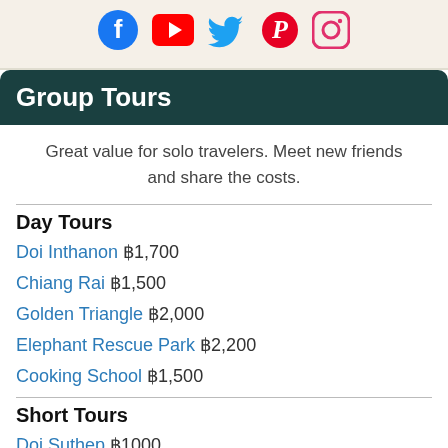[Figure (other): Social media icons: Facebook, YouTube, Twitter, Pinterest, Instagram]
Group Tours
Great value for solo travelers. Meet new friends and share the costs.
Day Tours
Doi Inthanon ฿1,700
Chiang Rai ฿1,500
Golden Triangle ฿2,000
Elephant Rescue Park ฿2,200
Cooking School ฿1,500
Short Tours
Doi Suthep ฿1000